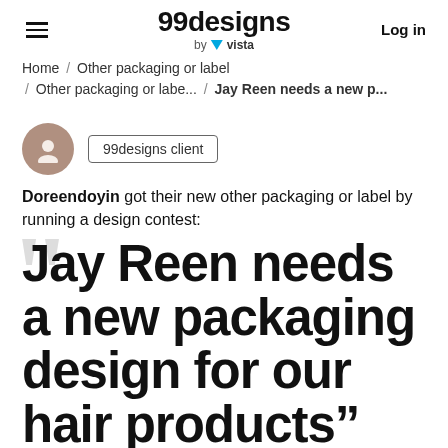99designs by vista — Log in
Home / Other packaging or label / Other packaging or labe... / Jay Reen needs a new p...
[Figure (illustration): User avatar circle with person silhouette in brownish-gray color]
99designs client
Doreendoyin got their new other packaging or label by running a design contest:
Jay Reen needs a new packaging design for our hair products”